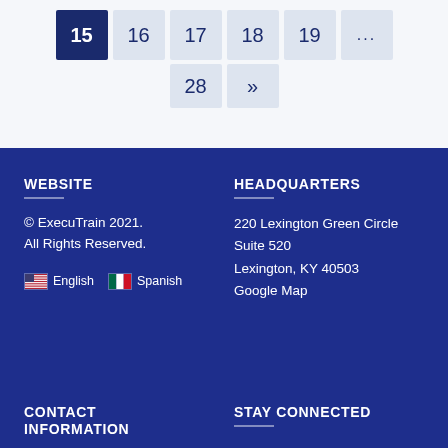[Figure (other): Pagination navigation bar showing page buttons: 15 (active/selected, dark blue), 16, 17 (with 28 below), 18 (with » below), 19, ...]
WEBSITE
© ExecuTrain 2021. All Rights Reserved.
English   Spanish
HEADQUARTERS
220 Lexington Green Circle Suite 520 Lexington, KY 40503 Google Map
CONTACT INFORMATION
STAY CONNECTED